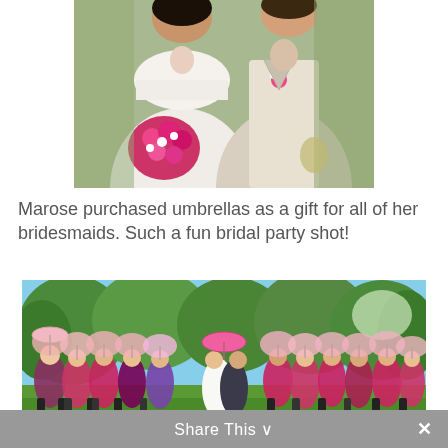[Figure (photo): Wedding couple photo from waist up - bride in white off-shoulder dress holding pink flowers bouquet, groom in beige suit with pink boutonniere]
Marose purchased umbrellas as a gift for all of her bridesmaids. Such a fun bridal party shot!
[Figure (photo): Outdoor wedding bridal party photo - group of people holding pink parasol umbrellas in front of green trees, bride and groom kissing in center]
Share This ∨  ✕